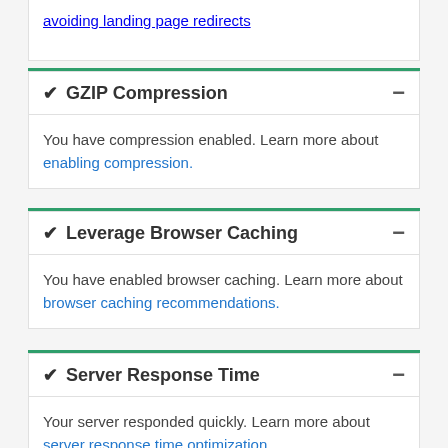avoiding landing page redirects
✔ GZIP Compression
You have compression enabled. Learn more about enabling compression.
✔ Leverage Browser Caching
You have enabled browser caching. Learn more about browser caching recommendations.
✔ Server Response Time
Your server responded quickly. Learn more about server response time optimization.